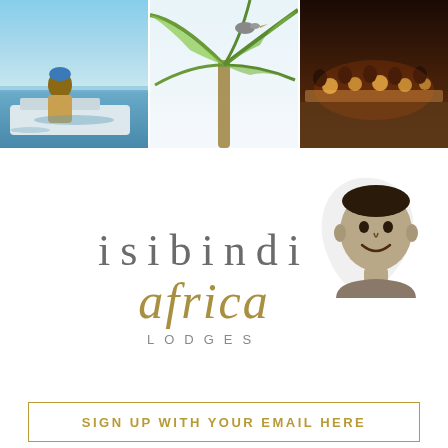[Figure (photo): Three-panel photo strip: left panel shows a man on a boat on water, center panel shows palm fronds with a bird, right panel shows a group dining outdoors at night by candlelight]
[Figure (logo): Isibindi Africa Lodges logo: 'isibindi' in grey serif letters, 'africa' in gold italic script, 'LODGES' in small grey caps, with a black-and-white portrait of a smiling African child overlapping an Africa map watermark]
SIGN UP WITH YOUR EMAIL HERE